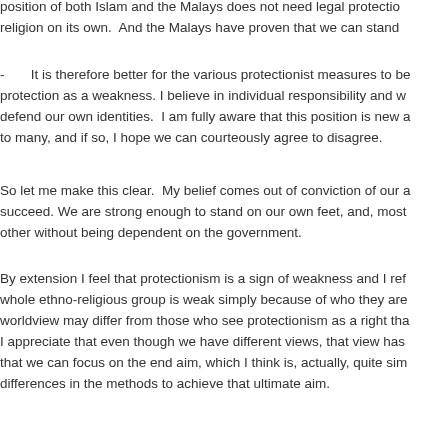position of both Islam and the Malays does not need legal protection. religion on its own.  And the Malays have proven that we can stand
-       It is therefore better for the various protectionist measures to be protection as a weakness. I believe in individual responsibility and w defend our own identities.  I am fully aware that this position is new to many, and if so, I hope we can courteously agree to disagree.
So let me make this clear.  My belief comes out of conviction of our succeed. We are strong enough to stand on our own feet, and, most other without being dependent on the government.
By extension I feel that protectionism is a sign of weakness and I ref whole ethno-religious group is weak simply because of who they are worldview may differ from those who see protectionism as a right tha I appreciate that even though we have different views, that view has that we can focus on the end aim, which I think is, actually, quite sim differences in the methods to achieve that ultimate aim.
Again, apologies for not responding earlier.  But I hope to be back "c near future.
Ends